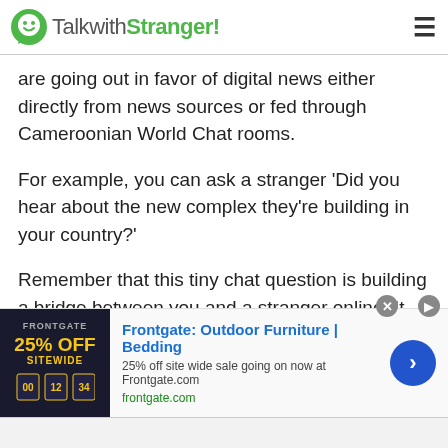TalkwithStranger!
are going out in favor of digital news either directly from news sources or fed through Cameroonian World Chat rooms.
For example, you can ask a stranger 'Did you hear about the new complex they're building in your country?'
Remember that this tiny chat question is building a bridge between you and a stranger online. It does not matter what you point out. The main point is that you have just begun talking to a stranger.
[Figure (other): Advertisement banner for Frontgate: Outdoor Furniture | Bedding. 25% off site wide sale going on now at Frontgate.com. frontgate.com]